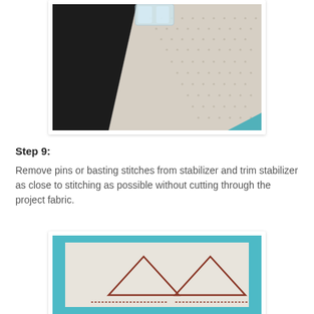[Figure (photo): Close-up photo of a sewing machine presser foot on dark black fabric next to white mesh/net stabilizer fabric with teal fabric visible at edge]
Step 9:
Remove pins or basting stitches from stabilizer and trim stabilizer as close to stitching as possible without cutting through the project fabric.
[Figure (photo): Photo showing embroidered triangles stitched in brown/rust thread on white stabilizer fabric with teal fabric border around edges]